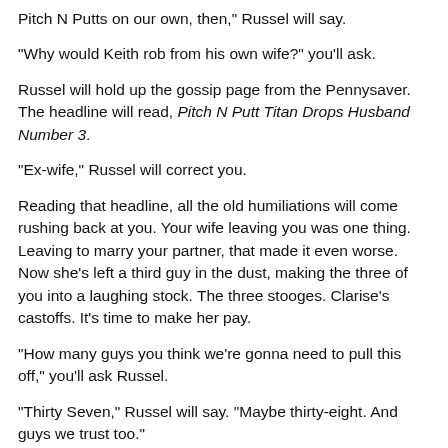Pitch N Putts on our own, then," Russel will say.
"Why would Keith rob from his own wife?" you'll ask.
Russel will hold up the gossip page from the Pennysaver. The headline will read, Pitch N Putt Titan Drops Husband Number 3.
"Ex-wife," Russel will correct you.
Reading that headline, all the old humiliations will come rushing back at you. Your wife leaving you was one thing. Leaving to marry your partner, that made it even worse. Now she's left a third guy in the dust, making the three of you into a laughing stock. The three stooges. Clarise's castoffs. It's time to make her pay.
"How many guys you think we're gonna need to pull this off," you'll ask Russel.
"Thirty Seven," Russel will say. "Maybe thirty-eight. And guys we trust too."